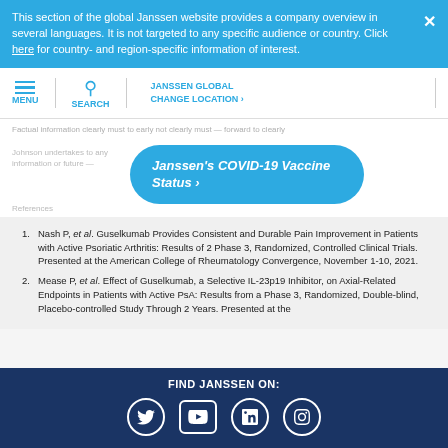This section of the global Janssen website provides a company overview in several languages. It is not targeted to any specific audience or country. Click here for country- and region-specific information of interest.
[Figure (screenshot): Janssen website navigation bar with hamburger menu icon, search icon, and JANSSEN GLOBAL / CHANGE LOCATION links]
[Figure (other): Janssen's COVID-19 Vaccine Status button in blue rounded rectangle]
Nash P, et al. Guselkumab Provides Consistent and Durable Pain Improvement in Patients with Active Psoriatic Arthritis: Results of 2 Phase 3, Randomized, Controlled Clinical Trials. Presented at the American College of Rheumatology Convergence, November 1-10, 2021.
Mease P, et al. Effect of Guselkumab, a Selective IL-23p19 Inhibitor, on Axial-Related Endpoints in Patients with Active PsA: Results from a Phase 3, Randomized, Double-blind, Placebo-controlled Study Through 2 Years. Presented at the
FIND JANSSEN ON:
[Figure (infographic): Social media icons: Twitter, YouTube, LinkedIn, Instagram]